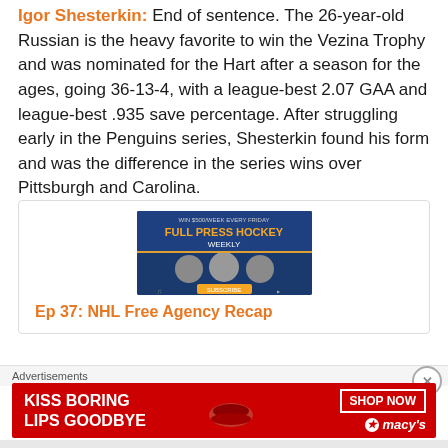Igor Shesterkin: End of sentence. The 26-year-old Russian is the heavy favorite to win the Vezina Trophy and was nominated for the Hart after a season for the ages, going 36-13-4, with a league-best 2.07 GAA and league-best .935 save percentage. After struggling early in the Penguins series, Shesterkin found his form and was the difference in the series wins over Pittsburgh and Carolina.
[Figure (screenshot): Full Press Hockey Weekly podcast promotional image]
Ep 37: NHL Free Agency Recap
Advertisements
[Figure (photo): Macy's advertisement: KISS BORING LIPS GOODBYE with SHOP NOW button and Macy's logo]